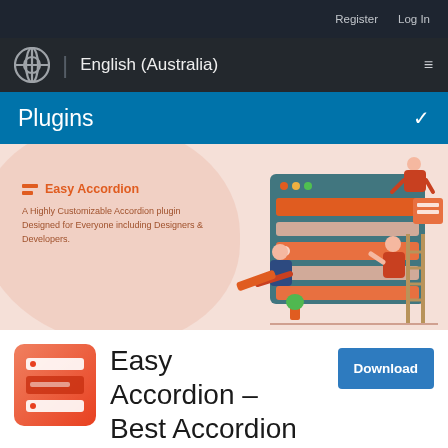Register  Log In
WordPress logo | English (Australia)  ☰
Plugins  ∨
[Figure (illustration): Easy Accordion plugin promotional banner with illustrated characters interacting with an accordion UI interface. Text reads: Easy Accordion – A Highly Customizable Accordion plugin Designed for Everyone including Designers & Developers.]
[Figure (logo): Easy Accordion plugin icon – orange/red gradient square with accordion UI elements]
Easy Accordion – Best Accordion FAQ
Download